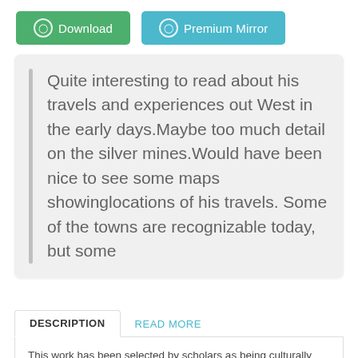[Figure (screenshot): Two buttons: green Download button and blue Premium Mirror button]
Quite interesting to read about his travels and experiences out West in the early days.Maybe too much detail on the silver mines.Would have been nice to see some maps showinglocations of his travels. Some of the towns are recognizable today, but some
DESCRIPTION
This work has been selected by scholars as being culturally important, and is part of the knowledge base of civilization as we know it. This work was reproduced from the original artifact, and remains as true to the original work as possible. Therefore, you will see the original copyright references, library stamps (as most